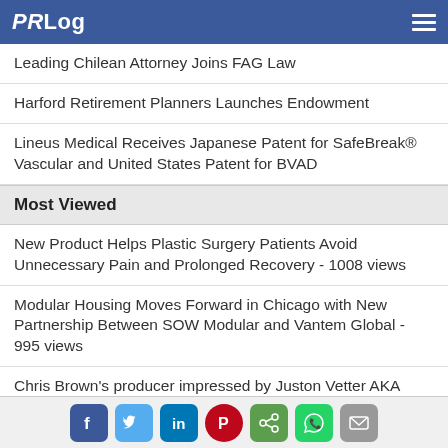PRLog
Leading Chilean Attorney Joins FAG Law
Harford Retirement Planners Launches Endowment
Lineus Medical Receives Japanese Patent for SafeBreak® Vascular and United States Patent for BVAD
Most Viewed
New Product Helps Plastic Surgery Patients Avoid Unnecessary Pain and Prolonged Recovery - 1008 views
Modular Housing Moves Forward in Chicago with New Partnership Between SOW Modular and Vantem Global - 995 views
Chris Brown's producer impressed by Juston Vetter AKA "JSuave" Rapper/R&B Singer from Akron Ohio - 652 views
Malaya Blue Announces New Album, 'Blue Credentials' - 526
Social share icons: Facebook, Twitter, LinkedIn, Pinterest, Share, WhatsApp, Email